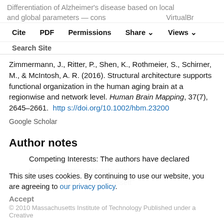Differentiation of Alzheimer's disease based on local and global parameters — Cite | PDF | Permissions | Share | Views
Zimmermann, J., Ritter, P., Shen, K., Rothmeier, S., Schirner, M., & McIntosh, A. R. (2016). Structural architecture supports functional organization in the human aging brain at a regionwise and network level. Human Brain Mapping, 37(7), 2645–2661. https://doi.org/10.1002/hbm.23200
Google Scholar
Author notes
Competing Interests: The authors have declared that no competing interests exist.
Handling Editor: Danielle Bassett
This site uses cookies. By continuing to use our website, you are agreeing to our privacy policy. Accept
© 2010 Massachusetts Institute of Technology Published under a Creative